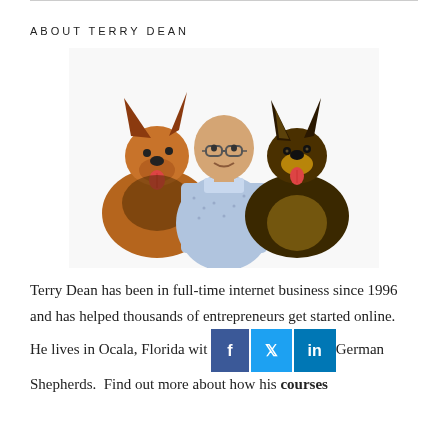ABOUT TERRY DEAN
[Figure (photo): Photo of Terry Dean, a bald man wearing glasses and a light blue patterned short-sleeve shirt, sitting between two German Shepherd dogs on a white background.]
Terry Dean has been in full-time internet business since 1996 and has helped thousands of entrepreneurs get started online.  He lives in Ocala, Florida wit[h his two] German Shepherds.  Find out more about how his courses